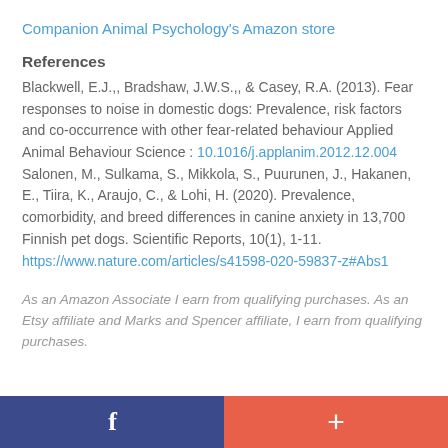Companion Animal Psychology's Amazon store
References
Blackwell, E.J.,, Bradshaw, J.W.S.,, & Casey, R.A. (2013). Fear responses to noise in domestic dogs: Prevalence, risk factors and co-occurrence with other fear-related behaviour Applied Animal Behaviour Science : 10.1016/j.applanim.2012.12.004 Salonen, M., Sulkama, S., Mikkola, S., Puurunen, J., Hakanen, E., Tiira, K., Araujo, C., & Lohi, H. (2020). Prevalence, comorbidity, and breed differences in canine anxiety in 13,700 Finnish pet dogs. Scientific Reports, 10(1), 1-11. https://www.nature.com/articles/s41598-020-59837-z#Abs1
As an Amazon Associate I earn from qualifying purchases. As an Etsy affiliate and Marks and Spencer affiliate, I earn from qualifying purchases.
f  +